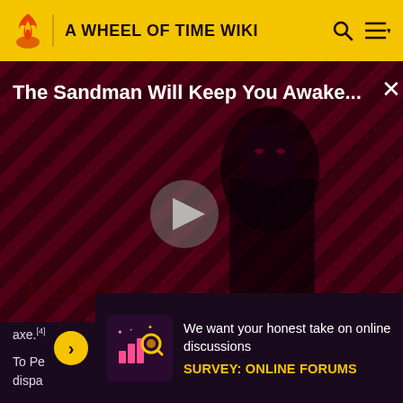A WHEEL OF TIME WIKI
[Figure (screenshot): Video player showing 'The Sandman Will Keep You Awake...' with a dark figure in black against a red diagonal-striped background, play button in center, THE LOOP watermark, NaN:NaN timer, and X close button]
axe.[4]
To Perrin, the hammer represented the opposite of the axe. dispa s some he
[Figure (infographic): Survey banner: colorful icon with magnifying glass and chart. Text: 'We want your honest take on online discussions' with yellow CTA 'SURVEY: ONLINE FORUMS']